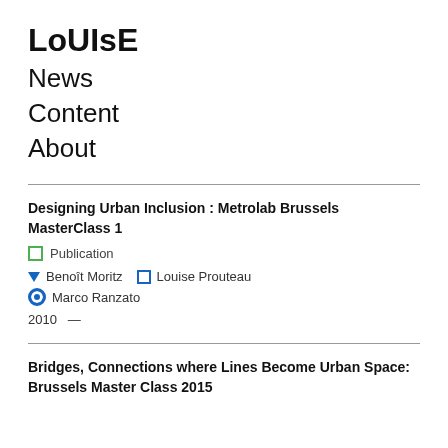LoUIsE
News
Content
About
Designing Urban Inclusion : Metrolab Brussels MasterClass 1
☐ Publication
▽ Benoît Moritz   ☐ Louise Prouteau
● Marco Ranzato
2010  —
Bridges, Connections where Lines Become Urban Space: Brussels Master Class 2015